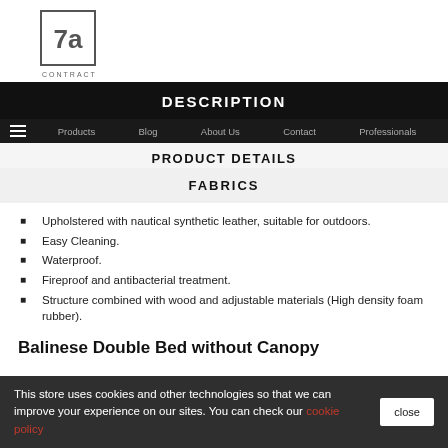[Figure (logo): 7a Contract logo — stylized '7a' inside a square border with 'CONTRACT' text below]
DESCRIPTION
Products   Blog   About Us   Contact   Professionals
PRODUCT DETAILS
FABRICS
Upholstered with nautical synthetic leather, suitable for outdoors.
Easy Cleaning.
Waterproof.
Fireproof and antibacterial treatment.
Structure combined with wood and adjustable materials (High density foam rubber).
Balinese Double Bed without Canopy
This store uses cookies and other technologies so that we can improve your experience on our sites. You can check our cookie policy